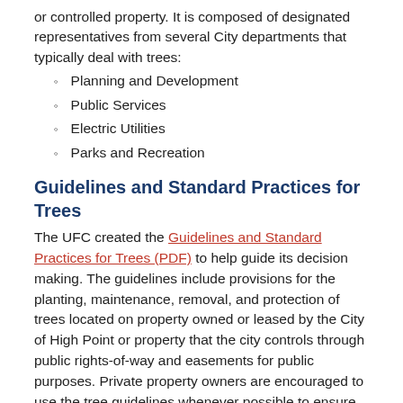or controlled property. It is composed of designated representatives from several City departments that typically deal with trees:
Planning and Development
Public Services
Electric Utilities
Parks and Recreation
Guidelines and Standard Practices for Trees
The UFC created the Guidelines and Standard Practices for Trees (PDF) to help guide its decision making. The guidelines include provisions for the planting, maintenance, removal, and protection of trees located on property owned or leased by the City of High Point or property that the city controls through public rights-of-way and easements for public purposes. Private property owners are encouraged to use the tree guidelines whenever possible to ensure the health of trees on their